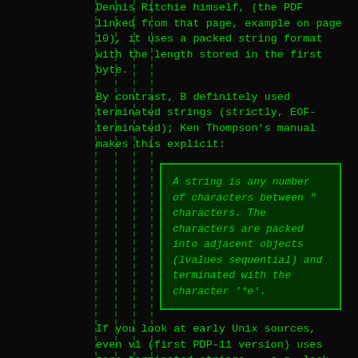Dennis Ritchie himself, (the PDF linked from that page, example on page 10), it uses a packed string format with the length stored in the first byte.
By contrast, B definitely used terminated strings (strictly, EOF-terminated); Ken Thompson's manual makes this explicit:
A string is any number of characters between " characters. The characters are packed into adjacent objects (lvalues sequential) and terminated with the character '*e'.
If you look at early Unix sources, even v1 (first PDP-11 version) uses zero-terminated strings -- e.g. look at the source of sh.s.
Curiously, v0 (for the PDP-7) doesn't seem to use them. The source is from one guy's amazing project to run PDP-7 unix on an actual PDP-7 -- look e.g. at the source for 'cp.s'. This may be my mistake in reading the assembly, of course. PDP-11 assemblers have an ASCIIZ declaration, but while